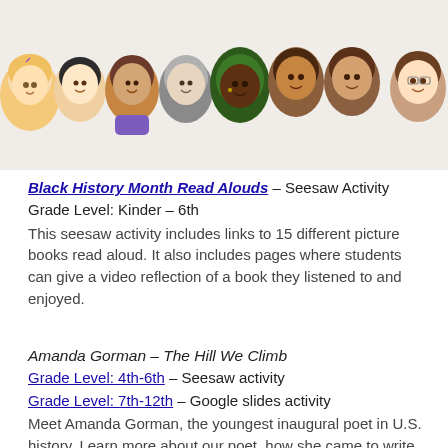[Figure (illustration): Row of eight diverse cartoon/memoji-style character head illustrations across the top of the page, showing children and adults of various ethnicities and styles.]
Black History Month Read Alouds – Seesaw Activity
Grade Level: Kinder – 6th
This seesaw activity includes links to 15 different picture books read aloud. It also includes pages where students can give a video reflection of a book they listened to and enjoyed.
Amanda Gorman – The Hill We Climb
Grade Level: 4th-6th – Seesaw activity
Grade Level: 7th-12th – Google slides activity
Meet Amanda Gorman, the youngest inaugural poet in U.S. history. Learn more about our poet, how she came to write "The Hill We Climb", and explore another poem by Gorman